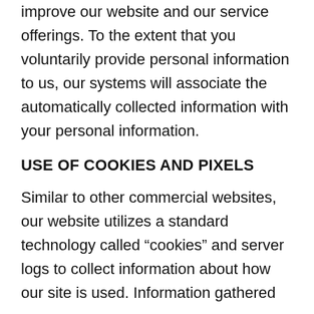improve our website and our service offerings. To the extent that you voluntarily provide personal information to us, our systems will associate the automatically collected information with your personal information.
USE OF COOKIES AND PIXELS
Similar to other commercial websites, our website utilizes a standard technology called “cookies” and server logs to collect information about how our site is used. Information gathered